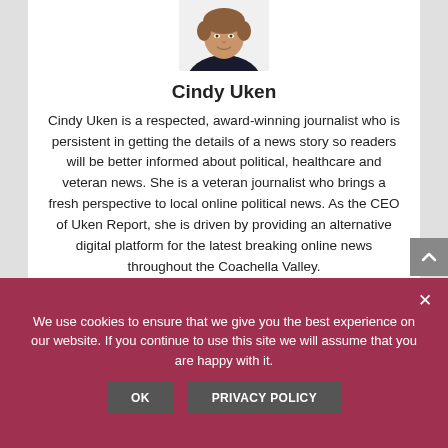[Figure (photo): Headshot photo of Cindy Uken, a woman in a dark jacket, cropped at top of page]
Cindy Uken
Cindy Uken is a respected, award-winning journalist who is persistent in getting the details of a news story so readers will be better informed about political, healthcare and veteran news. She is a veteran journalist who brings a fresh perspective to local online political news. As the CEO of Uken Report, she is driven by providing an alternative digital platform for the latest breaking online news throughout the Coachella Valley.
We use cookies to ensure that we give you the best experience on our website. If you continue to use this site we will assume that you are happy with it.